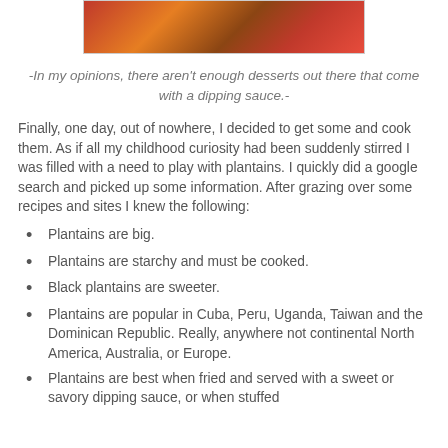[Figure (photo): Partial photo of cooked plantains or food dish, cropped at top]
-In my opinions, there aren't enough desserts out there that come with a dipping sauce.-
Finally, one day, out of nowhere, I decided to get some and cook them. As if all my childhood curiosity had been suddenly stirred I was filled with a need to play with plantains. I quickly did a google search and picked up some information. After grazing over some recipes and sites I knew the following:
Plantains are big.
Plantains are starchy and must be cooked.
Black plantains are sweeter.
Plantains are popular in Cuba, Peru, Uganda, Taiwan and the Dominican Republic. Really, anywhere not continental North America, Australia, or Europe.
Plantains are best when fried and served with a sweet or savory dipping sauce, or when stuffed